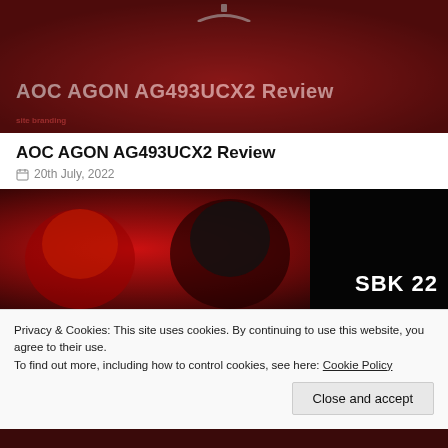[Figure (photo): AOC AGON AG493UCX2 Review hero image with dark red background and monitor stand silhouette. White text reads 'AOC AGON AG493UCX2 Review' with site branding below.]
AOC AGON AG493UCX2 Review
20th July, 2022
[Figure (photo): SBK 22 game promotional image showing motorcycle racing helmet figures in red lighting with 'SBK 22' logo text in the bottom right.]
Privacy & Cookies: This site uses cookies. By continuing to use this website, you agree to their use.
To find out more, including how to control cookies, see here: Cookie Policy
Close and accept